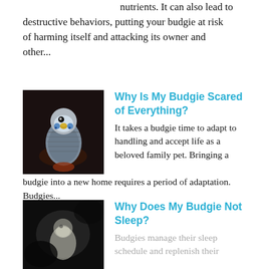nutrients. It can also lead to destructive behaviors, putting your budgie at risk of harming itself and attacking its owner and other...
[Figure (photo): Close-up photo of a blue and white budgie parakeet against a dark background]
Why Is My Budgie Scared of Everything?
It takes a budgie time to adapt to handling and accept life as a beloved family pet. Bringing a budgie into a new home requires a period of adaptation. Budgies...
[Figure (photo): Photo of a light-colored budgie against a dark background, partially visible]
Why Does My Budgie Not Sleep?
Budgies manage their sleep schedule and replenish their